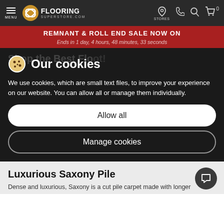MENU | FLOORING SUPERSTORE.COM | STORES
REMNANT & ROLL END SALE NOW ON
Ends in 1 day, 4 hours, 48 minutes, 33 seconds
Our cookies
We use cookies, which are small text files, to improve your experience on our website. You can allow all or manage them individually.
Allow all
Manage cookies
Luxurious Saxony Pile
Dense and luxurious, Saxony is a cut pile carpet made with longer